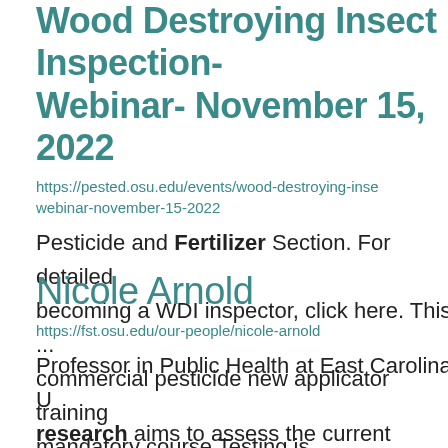Wood Destroying Insect Inspection- Webinar- November 15, 2022
https://pested.osu.edu/events/wood-destroying-insect-webinar-november-15-2022
Pesticide and Fertilizer Section. For detailed becoming a WDI inspector, click here. This ... commercial pesticide new applicator training mandatory course Testing is ...
Nicole Arnold
https://fst.osu.edu/our-people/nicole-arnold
Professor in Public Health at East Carolina U... research aims to assess the current landscape communication, Qualitative research method... Arnold has a split appointment in Ohio State